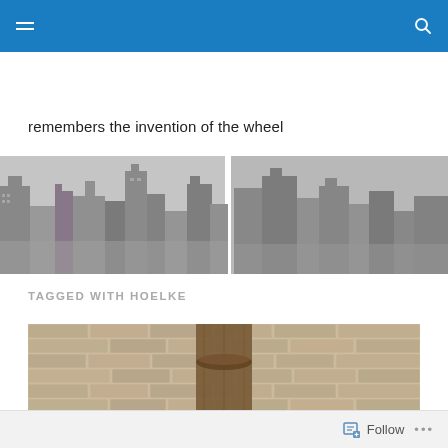remembers the invention of the wheel
[Figure (photo): Black and white aerial view of city skyscrapers/skyline]
TAGGED WITH HOELKE
[Figure (photo): Close-up photo of a wooden post or wheel hub against a brick wall background]
Follow •••